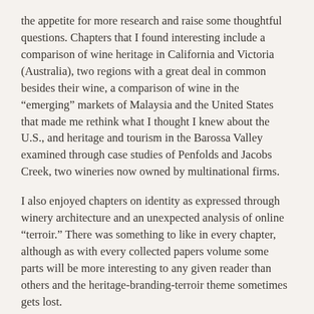the appetite for more research and raise some thoughtful questions. Chapters that I found interesting include a comparison of wine heritage in California and Victoria (Australia), two regions with a great deal in common besides their wine, a comparison of wine in the “emerging” markets of Malaysia and the United States that made me rethink what I thought I knew about the U.S., and heritage and tourism in the Barossa Valley examined through case studies of Penfolds and Jacobs Creek, two wineries now owned by multinational firms.
I also enjoyed chapters on identity as expressed through winery architecture and an unexpected analysis of online “terroir.” There was something to like in every chapter, although as with every collected papers volume some parts will be more interesting to any given reader than others and the heritage-branding-terroir theme sometimes gets lost.
The authors of the chapters are appropriately